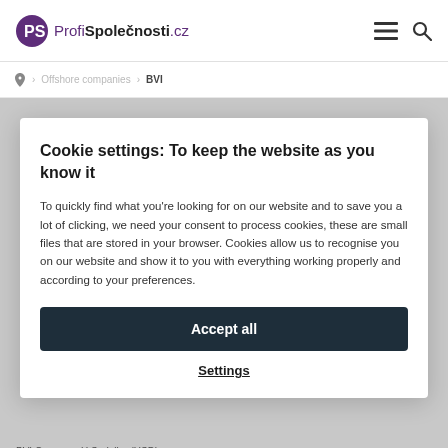ProfiSpolečnosti.cz
> Offshore companies > BVI
Cookie settings: To keep the website as you know it
To quickly find what you're looking for on our website and to save you a lot of clicking, we need your consent to process cookies, these are small files that are stored in your browser. Cookies allow us to recognise you on our website and show it to you with everything working properly and according to your preferences.
Accept all
Settings
BVI Currency: U.S. dollar (USD)